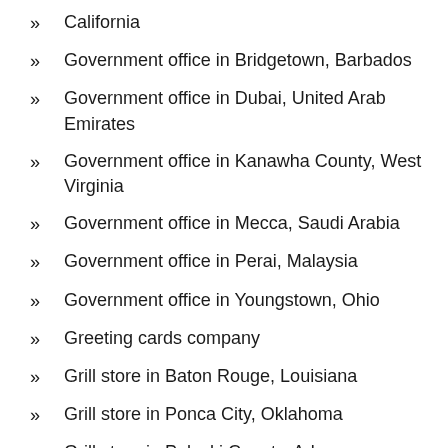California
Government office in Bridgetown, Barbados
Government office in Dubai, United Arab Emirates
Government office in Kanawha County, West Virginia
Government office in Mecca, Saudi Arabia
Government office in Perai, Malaysia
Government office in Youngstown, Ohio
Greeting cards company
Grill store in Baton Rouge, Louisiana
Grill store in Ponca City, Oklahoma
Grill store in Pulaski County, Arkansas
Grocery store